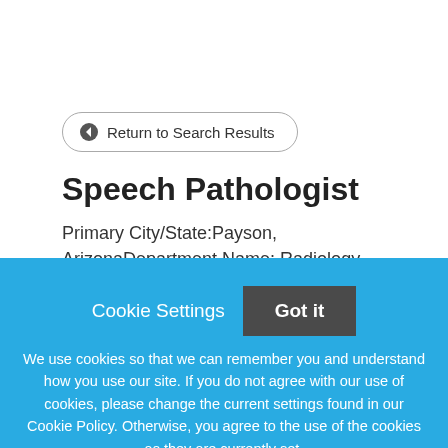← Return to Search Results
Speech Pathologist
Primary City/State:Payson, ArizonaDepartment Name: Radiology-Diagnostic-HospWork Shift: DayJob
Cookie Settings
Got it
We use cookies so that we can remember you and understand how you use our site. If you do not agree with our use of cookies, please change the current settings found in our Cookie Policy. Otherwise, you agree to the use of the cookies as they are currently set.